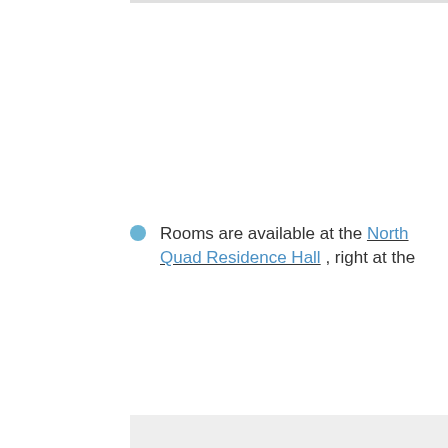Rooms are available at the North Quad Residence Hall , right at the
Single - $66.35 - plus a one-time admin fee of $3.75

Double - $81.70 - plus a one-time admin fee of $3.7

Online reservations: https://regstg.com/Registration/Intro a335-426f-939f-b5b1a74ed61c
Accommodations are available for those at the